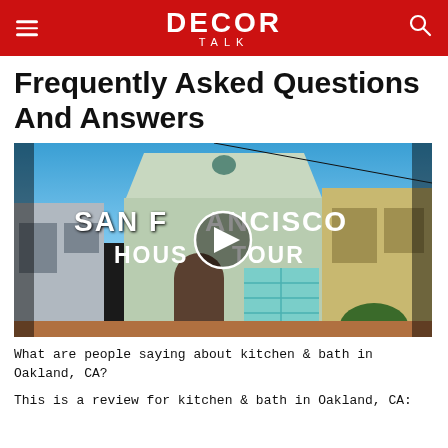DECOR TALK
Frequently Asked Questions And Answers
[Figure (screenshot): Video thumbnail showing a San Francisco house exterior with overlay text 'SAN FRANCISCO HOUSE TOUR' and a play button in the center]
What are people saying about kitchen & bath in Oakland, CA?
This is a review for kitchen & bath in Oakland, CA: